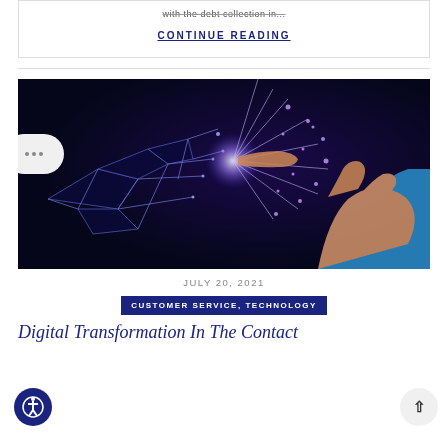with the debt collection in...
CONTINUE READING
[Figure (photo): A human hand (in blue sleeve) touching fingertips with a digital/wireframe robotic hand, with glowing blue light particles and network lines at the point of contact, on a dark blue background.]
JULY 20, 2021
CUSTOMER SERVICE, TECHNOLOGY
Digital Transformation In The Contact